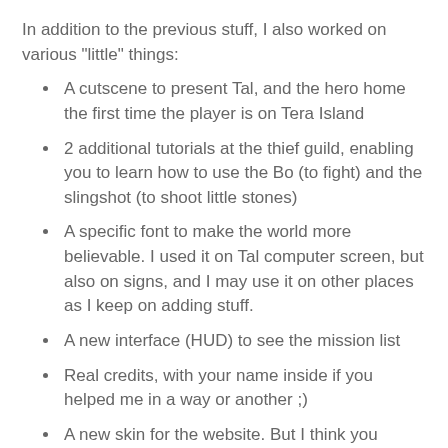In addition to the previous stuff, I also worked on various "little" things:
A cutscene to present Tal, and the hero home the first time the player is on Tera Island
2 additional tutorials at the thief guild, enabling you to learn how to use the Bo (to fight) and the slingshot (to shoot little stones)
A specific font to make the world more believable. I used it on Tal computer screen, but also on signs, and I may use it on other places as I keep on adding stuff.
A new interface (HUD) to see the mission list
Real credits, with your name inside if you helped me in a way or another ;)
A new skin for the website. But I think you already noticed ;)
So that's all for now. See you soon!